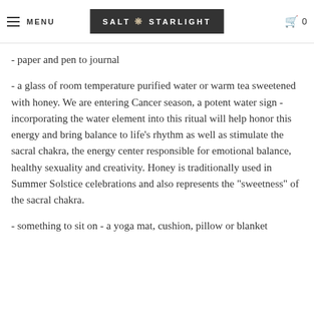MENU | SALT STARLIGHT | 0
- paper and pen to journal
- a glass of room temperature purified water or warm tea sweetened with honey. We are entering Cancer season, a potent water sign - incorporating the water element into this ritual will help honor this energy and bring balance to life's rhythm as well as stimulate the sacral chakra, the energy center responsible for emotional balance, healthy sexuality and creativity. Honey is traditionally used in Summer Solstice celebrations and also represents the "sweetness" of the sacral chakra.
- something to sit on - a yoga mat, cushion, pillow or blanket